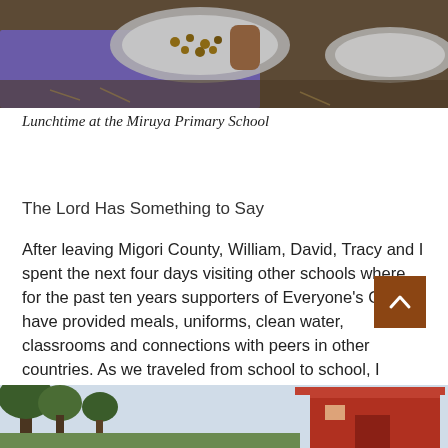[Figure (photo): Top portion of a photo showing a person in a purple shirt holding a metal bowl with food items, likely nuts or beans, at Miruya Primary School lunchtime]
Lunchtime at the Miruya Primary School
The Lord Has Something to Say
After leaving Migori County, William, David, Tracy and I spent the next four days visiting other schools where for the past ten years supporters of Everyone's Child have provided meals, uniforms, clean water, classrooms and connections with peers in other countries. As we traveled from school to school, I thought about the song I had heard at the Miruya Primary School and wondered what I was meant to learn from those shy children and their little tune.
[Figure (photo): Bottom portion of a photo showing trees and a red building, likely a school building]